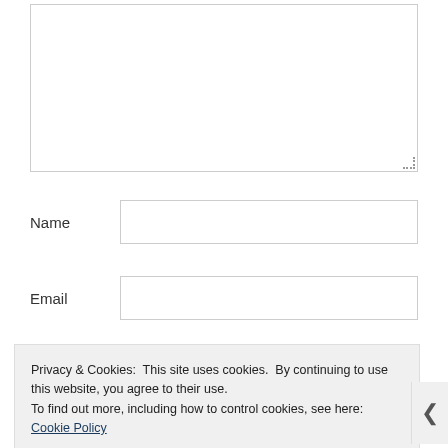[Figure (screenshot): A web form with a large textarea at the top (comment box), followed by Name, Email, and Website input fields. A cookie consent banner overlays the bottom portion of the page with text about privacy and cookies, a Cookie Policy link, and a 'Close and accept' button.]
Name
Email
Website
Privacy & Cookies: This site uses cookies. By continuing to use this website, you agree to their use.
To find out more, including how to control cookies, see here: Cookie Policy
Close and accept